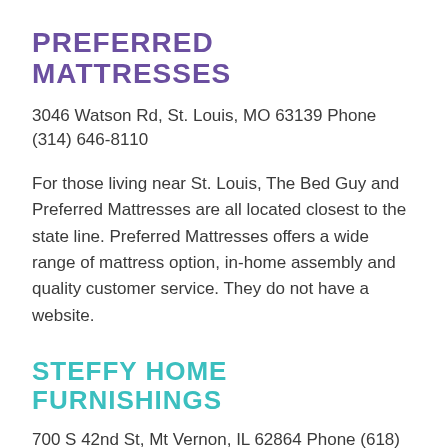PREFERRED MATTRESSES
3046 Watson Rd, St. Louis, MO 63139 Phone (314) 646-8110
For those living near St. Louis, The Bed Guy and Preferred Mattresses are all located closest to the state line. Preferred Mattresses offers a wide range of mattress option, in-home assembly and quality customer service. They do not have a website.
STEFFY HOME FURNISHINGS
700 S 42nd St, Mt Vernon, IL 62864 Phone (618)